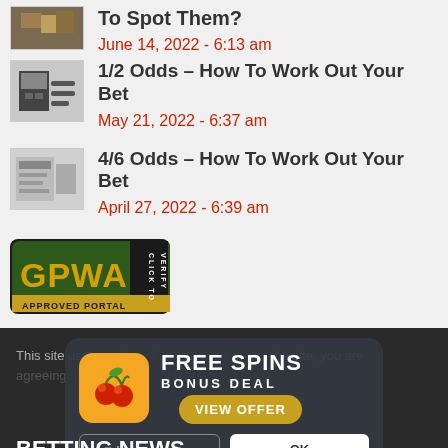To Spot Them?
June 14, 2022 - 6:13 am
1/2 Odds – How To Work Out Your Bet
May 21, 2022 - 6:37 am
4/6 Odds – How To Work Out Your Bet
April 27, 2022 - 6:39 am
[Figure (logo): GPWA Approved Portal badge - click to verify]
This site uses cookies. By continuing to use this site, you are agreeing to our use of cookies.
[Figure (infographic): Free Spins Bonus Deal popup overlay with cherry icon and View Offer button]
BETTING NEWS